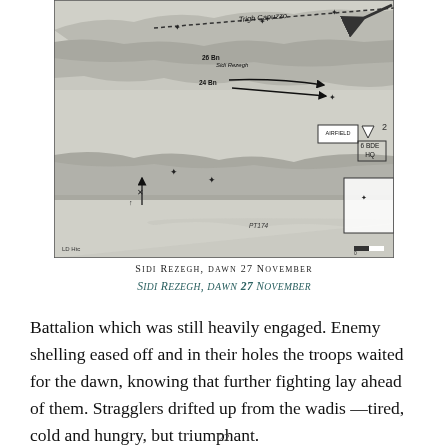[Figure (map): Military map showing Sidi Rezegh area at dawn 27 November, with terrain features, battalion positions (26 Bn, 24 Bn), Trigh Capuzzo road, airfield, 6 BDE HQ, and tactical arrow symbols. Shows escarpment with battalion movement arrows.]
Sidi Rezegh, dawn 27 November
Sidi Rezegh, dawn 27 November
Battalion which was still heavily engaged. Enemy shelling eased off and in their holes the troops waited for the dawn, knowing that further fighting lay ahead of them. Stragglers drifted up from the wadis —tired, cold and hungry, but triumphant.
22